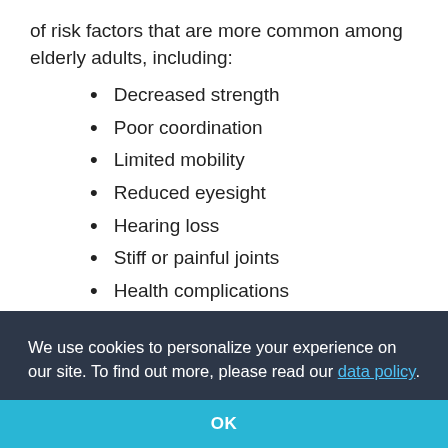of risk factors that are more common among elderly adults, including:
Decreased strength
Poor coordination
Limited mobility
Reduced eyesight
Hearing loss
Stiff or painful joints
Health complications
Cognitive disorders
We use cookies to personalize your experience on our site. To find out more, please read our data policy.
OK